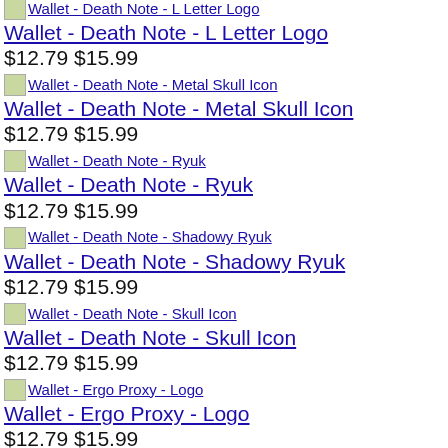Wallet - Death Note - L Letter Logo $12.79 $15.99
Wallet - Death Note - Metal Skull Icon $12.79 $15.99
Wallet - Death Note - Ryuk $12.79 $15.99
Wallet - Death Note - Shadowy Ryuk $12.79 $15.99
Wallet - Death Note - Skull Icon $12.79 $15.99
Wallet - Ergo Proxy - Logo $12.79 $15.99
Wallet - Full Metal Panic! - Mithril Crest and Chain $12.79 $15.99
Wallet - Haruhi - Haruhi ism $12.79 $15.99
Wallet - Haruhi - SOS